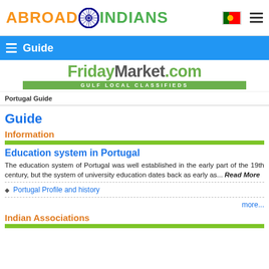ABROAD INDIANS — Guide
[Figure (logo): FridayMarket.com Gulf Local Classifieds advertisement banner]
Portugal Guide
Guide
Information
Education system in Portugal
The education system of Portugal was well established in the early part of the 19th century, but the system of university education dates back as early as... Read More
Portugal Profile and history
more...
Indian Associations